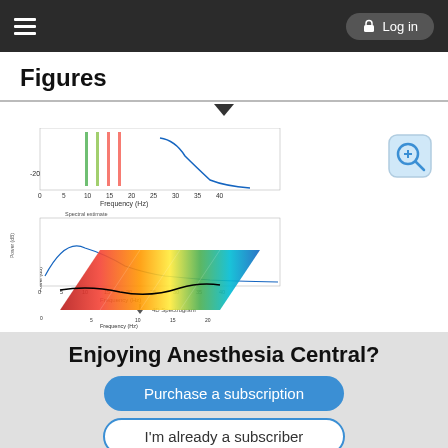☰  Log in
Figures
[Figure (continuous-plot): EEG frequency spectrum chart showing power vs frequency (Hz) with colored vertical lines at approximately 10 and 15 Hz, and a blue curve. Below it is a 2D power spectrum chart, and below that a 3D spectrogram showing power over time and frequency with a heatmap color scale.]
Enjoying Anesthesia Central?
Purchase a subscription
I'm already a subscriber